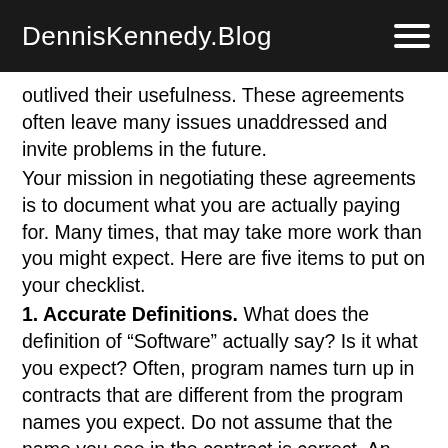DennisKennedy.Blog
outlived their usefulness. These agreements often leave many issues unaddressed and invite problems in the future. Your mission in negotiating these agreements is to document what you are actually paying for. Many times, that may take more work than you might expect. Here are five items to put on your checklist.
1. Accurate Definitions. What does the definition of “Software” actually say? Is it what you expect? Often, program names turn up in contracts that are different from the program names you expect. Do not assume that the name you see in the contract is correct. An